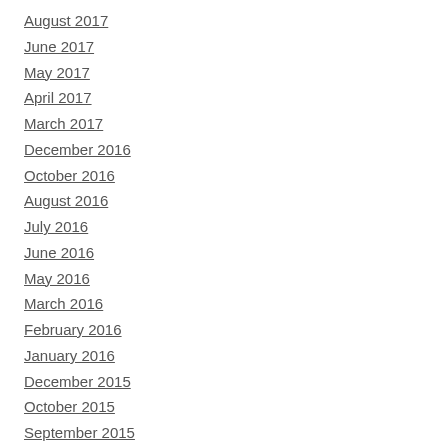August 2017
June 2017
May 2017
April 2017
March 2017
December 2016
October 2016
August 2016
July 2016
June 2016
May 2016
March 2016
February 2016
January 2016
December 2015
October 2015
September 2015
August 2015
July 2015